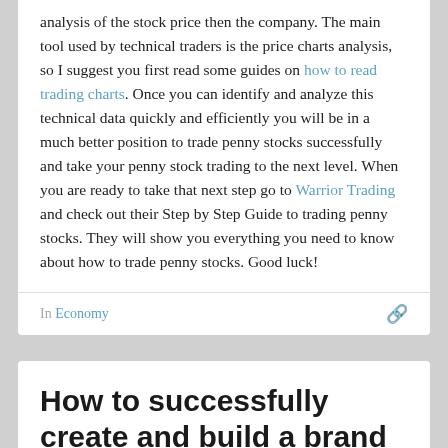analysis of the stock price then the company. The main tool used by technical traders is the price charts analysis, so I suggest you first read some guides on how to read trading charts. Once you can identify and analyze this technical data quickly and efficiently you will be in a much better position to trade penny stocks successfully and take your penny stock trading to the next level. When you are ready to take that next step go to Warrior Trading and check out their Step by Step Guide to trading penny stocks. They will show you everything you need to know about how to trade penny stocks. Good luck!
In Economy
How to successfully create and build a brand identity
Justin W — November 5, 2016
Creating a successful brand is not just about offering a quality...